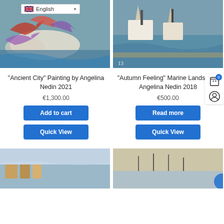[Figure (photo): Colorful expressionist painting of boats on water, left product image]
[Figure (photo): Marine landscape painting with boats, right product image, labeled '13']
"Ancient City" Painting by Angelina Nedin 2021
€1,300.00
Add to cart
Quick View
"Autumn Feeling" Marine Landscape Angelina Nedin 2018
€500.00
Read more
Quick View
[Figure (photo): Painting of a coastal town with buildings, bottom left]
[Figure (photo): Marine landscape with sailboats, bottom right]